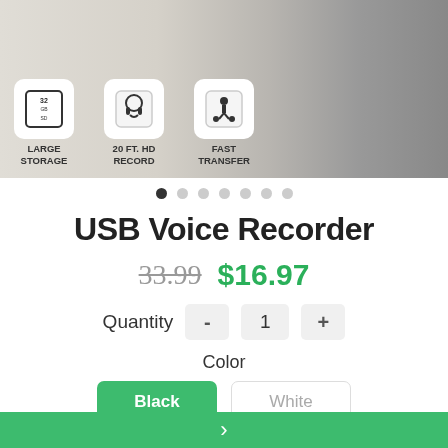[Figure (photo): Product image banner showing USB voice recorder with feature icons: LARGE STORAGE (32GB), 20 FT. HD RECORD, FAST TRANSFER]
• • • • • • •  (carousel dots, first active)
USB Voice Recorder
33.99  $16.97
Quantity  -  1  +
Color
Black  White
SD Card
Without SD Card  With SD Card